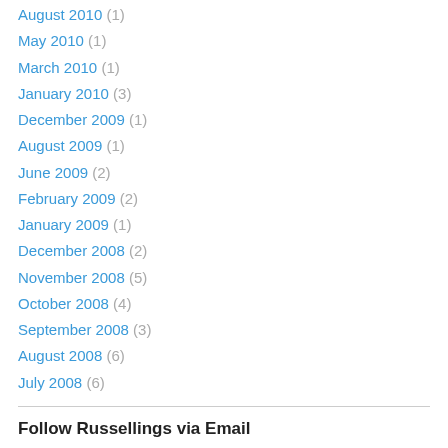August 2010 (1)
May 2010 (1)
March 2010 (1)
January 2010 (3)
December 2009 (1)
August 2009 (1)
June 2009 (2)
February 2009 (2)
January 2009 (1)
December 2008 (2)
November 2008 (5)
October 2008 (4)
September 2008 (3)
August 2008 (6)
July 2008 (6)
Follow Russellings via Email
Enter your email address to follow this blog and receive notifications of